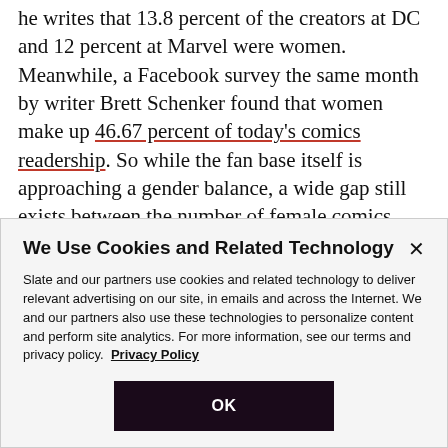he writes that 13.8 percent of the creators at DC and 12 percent at Marvel were women. Meanwhile, a Facebook survey the same month by writer Brett Schenker found that women make up 46.67 percent of today's comics readership. So while the fan base itself is approaching a gender balance, a wide gap still exists between the number of female comics nerds and the number of women writing for them.
We Use Cookies and Related Technology
Slate and our partners use cookies and related technology to deliver relevant advertising on our site, in emails and across the Internet. We and our partners also use these technologies to personalize content and perform site analytics. For more information, see our terms and privacy policy. Privacy Policy